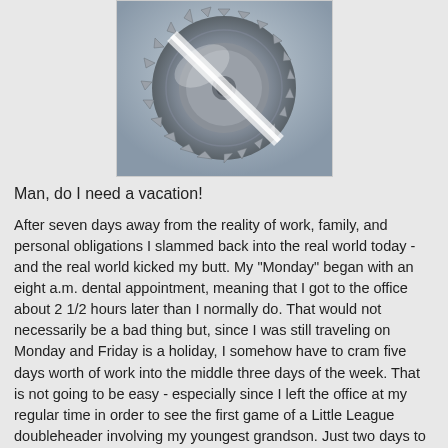[Figure (photo): A circular saw blade rendered in 3D, metallic silver/steel color with sharp teeth around the perimeter, on a light blue-gray background.]
Man, do I need a vacation!
After seven days away from the reality of work, family, and personal obligations I slammed back into the real world today - and the real world kicked my butt.  My "Monday" began with an eight a.m. dental appointment, meaning that I got to the office about 2 1/2 hours later than I normally do.  That would not necessarily be a bad thing but, since I was still traveling on Monday and Friday is a holiday, I somehow have to cram five days worth of work into the middle three days of the week.  That is not going to be easy - especially since I left the office at my regular time in order to see the first game of a Little League doubleheader involving my youngest grandson.  Just two days to go, and I didn't make